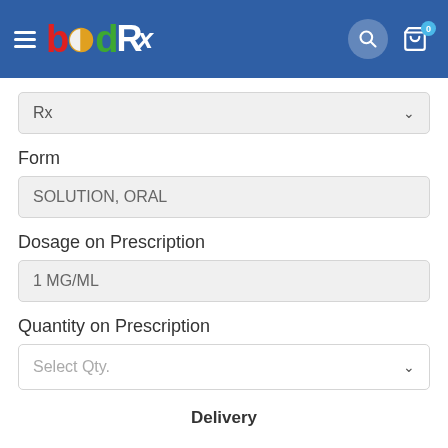bōdRx navigation header with search and cart
Rx
Form
SOLUTION, ORAL
Dosage on Prescription
1 MG/ML
Quantity on Prescription
Select Qty.
Delivery